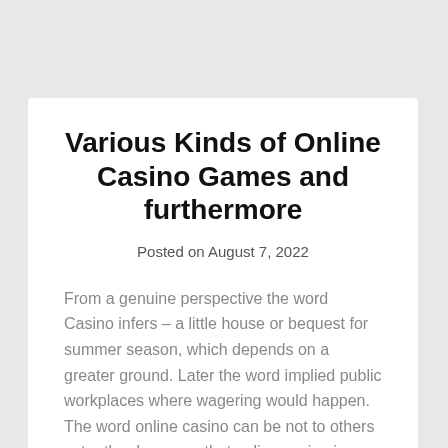Various Kinds of Online Casino Games and furthermore
Posted on August 7, 2022
From a genuine perspective the word Casino infers – a little house or bequest for summer season, which depends on a greater ground. Later the word implied public workplaces where wagering would happen. The word online casino can be not to others yet rather I can say that online casino is certified clowning around. The…